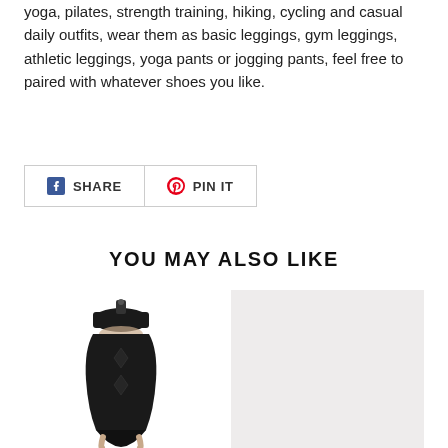yoga, pilates, strength training, hiking, cycling and casual daily outfits, wear them as basic leggings, gym leggings, athletic leggings, yoga pants or jogging pants, feel free to paired with whatever shoes you like.
[Figure (other): Facebook Share button and Pinterest Pin It button, side by side with icons]
YOU MAY ALSO LIKE
[Figure (photo): Black high-waist shapewear/body shaper garment on a model, showing mesh panel design]
[Figure (photo): Light grey/beige blank product image placeholder]